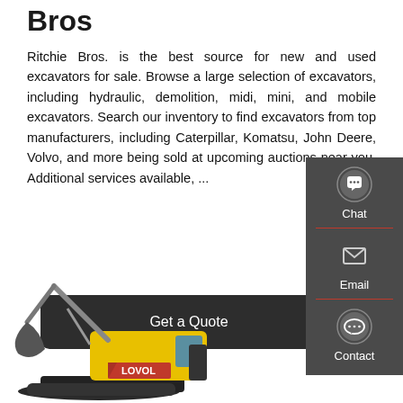Bros
Ritchie Bros. is the best source for new and used excavators for sale. Browse a large selection of excavators, including hydraulic, demolition, midi, mini, and mobile excavators. Search our inventory to find excavators from top manufacturers, including Caterpillar, Komatsu, John Deere, Volvo, and more being sold at upcoming auctions near you. Additional services available, ...
Get a Quote
[Figure (infographic): Side panel with chat, email, and contact icons on dark gray background]
[Figure (photo): Yellow LOVOL excavator/crawler machine on white background]